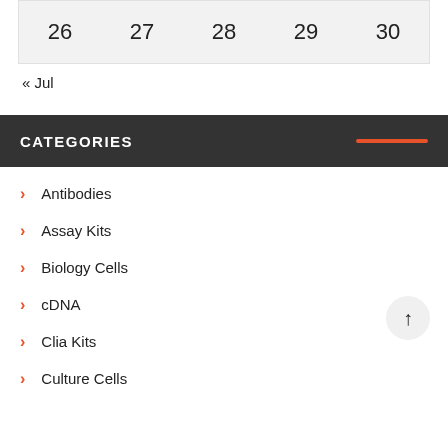| 26 | 27 | 28 | 29 | 30 |
| --- | --- | --- | --- | --- |
« Jul
CATEGORIES
Antibodies
Assay Kits
Biology Cells
cDNA
Clia Kits
Culture Cells